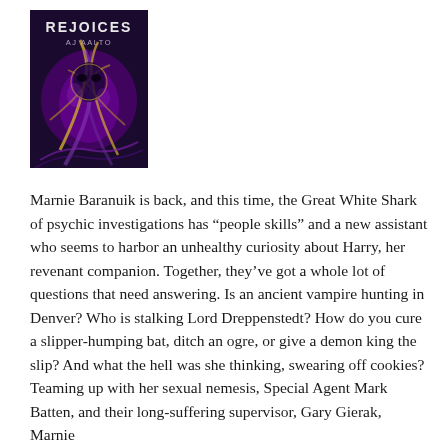[Figure (illustration): Book cover image showing 'REJOICES' title text and 'AJ AALTO' author name on a dark purple/black background with a masked or ethereal figure. Swirling purple and gold smoke/tendrils design.]
Marnie Baranuik is back, and this time, the Great White Shark of psychic investigations has “people skills” and a new assistant who seems to harbor an unhealthy curiosity about Harry, her revenant companion. Together, they’ve got a whole lot of questions that need answering. Is an ancient vampire hunting in Denver? Who is stalking Lord Dreppenstedt? How do you cure a slipper-humping bat, ditch an ogre, or give a demon king the slip? And what the hell was she thinking, swearing off cookies? Teaming up with her sexual nemesis, Special Agent Mark Batten, and their long-suffering supervisor, Gary Gierak, Marnie